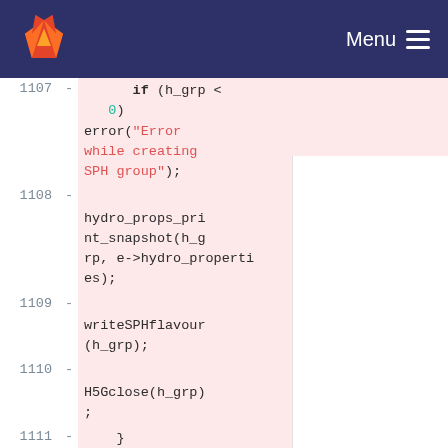GitLab navigation bar with logo and Menu
[Figure (screenshot): GitLab code diff viewer showing lines 1107-1113 of a C source file with removed lines highlighted in pink/red]
1107 - if (h_grp < 0)
        error("Error while creating SPH group");
1108 - hydro_props_print_snapshot(h_grp, e->hydro_properties);
1109 - writeSPHflavour(h_grp);
1110 - H5Gclose(h_grp);
1111 - }
1112 -
1113 - /* Print the